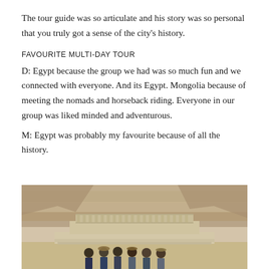The tour guide was so articulate and his story was so personal that you truly got a sense of the city's history.
FAVOURITE MULTI-DAY TOUR
D: Egypt because the group we had was so much fun and we connected with everyone. And its Egypt. Mongolia because of meeting the nomads and horseback riding. Everyone in our group was liked minded and adventurous.
M: Egypt was probably my favourite because of all the history.
[Figure (photo): Group of tourists posing in front of an ancient Egyptian temple carved into a rocky cliff face, in a desert landscape.]